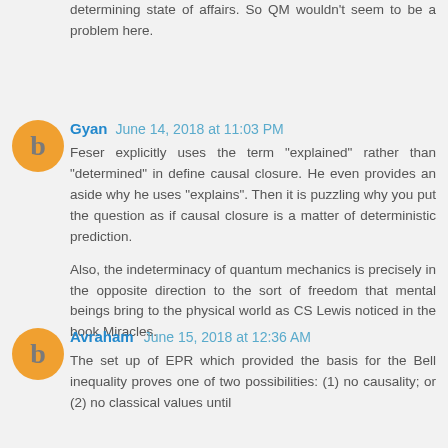determining state of affairs. So QM wouldn't seem to be a problem here.
Gyan  June 14, 2018 at 11:03 PM
Feser explicitly uses the term "explained" rather than "determined" in define causal closure. He even provides an aside why he uses "explains". Then it is puzzling why you put the question as if causal closure is a matter of deterministic prediction.

Also, the indeterminacy of quantum mechanics is precisely in the opposite direction to the sort of freedom that mental beings bring to the physical world as CS Lewis noticed in the book Miracles.
Avraham  June 15, 2018 at 12:36 AM
The set up of EPR which provided the basis for the Bell inequality proves one of two possibilities: (1) no causality; or (2) no classical values until